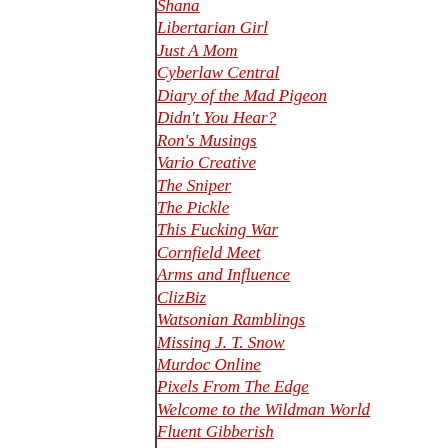Shana
Libertarian Girl
Just A Mom
Cyberlaw Central
Diary of the Mad Pigeon
Didn't You Hear?
Ron's Musings
Vario Creative
The Sniper
The Pickle
This Fucking War
Cornfield Meet
Arms and Influence
ClizBiz
Watsonian Ramblings
Missing J. T. Snow
Murdoc Online
Pixels From The Edge
Welcome to the Wildman World
Fluent Gibberish
sg.hu
techbazis
Pam's Blog
TubaPants